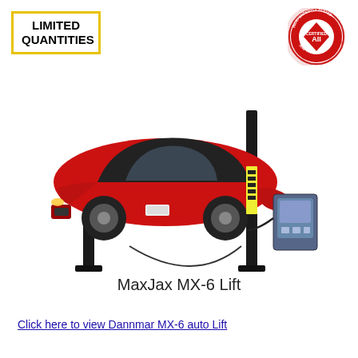[Figure (other): LIMITED QUANTITIES badge — yellow-bordered white box with bold black text]
[Figure (logo): AII Certified logo — circular badge reading INDEPENDENTLY TESTED AND VALIDATED with red diamond CERTIFIED center]
[Figure (photo): Product photo of MaxJax MX-6 two-post car lift with a red Ford Mustang raised on the lift, showing black columns, yellow swing arms, and a control unit with cable]
MaxJax MX-6 Lift
Click here to view Dannmar MX-6 auto Lift